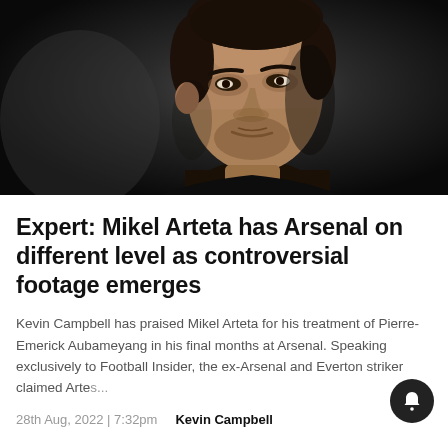[Figure (photo): Close-up portrait photo of Mikel Arteta against a dark background, wearing a black top, looking to the side]
Expert: Mikel Arteta has Arsenal on different level as controversial footage emerges
Kevin Campbell has praised Mikel Arteta for his treatment of Pierre-Emerick Aubameyang in his final months at Arsenal. Speaking exclusively to Football Insider, the ex-Arsenal and Everton striker claimed Artes...
28th Aug, 2022 | 7:32pm    Kevin Campbell